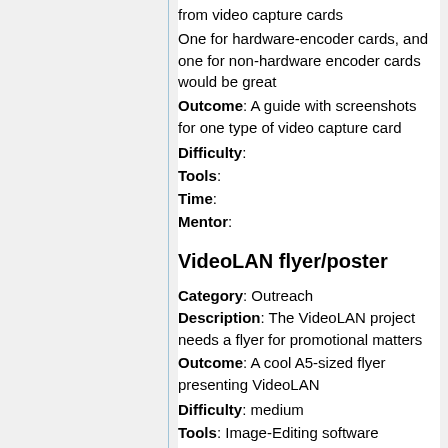from video capture cards
One for hardware-encoder cards, and one for non-hardware encoder cards would be great
Outcome: A guide with screenshots for one type of video capture card
Difficulty:
Tools:
Time:
Mentor:
VideoLAN flyer/poster
Category: Outreach
Description: The VideoLAN project needs a flyer for promotional matters
Outcome: A cool A5-sized flyer presenting VideoLAN
Difficulty: medium
Tools: Image-Editing software
Time: 3days